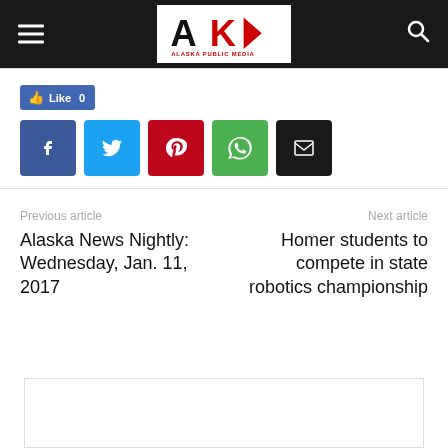[Figure (logo): Alaska Public Media logo with AK letters in black and red]
[Figure (infographic): Social share buttons: Like 0 (Facebook blue), Facebook (f), Twitter (bird), Pinterest (p), WhatsApp (phone), Email (envelope)]
Previous article
Alaska News Nightly: Wednesday, Jan. 11, 2017
Next article
Homer students to compete in state robotics championship